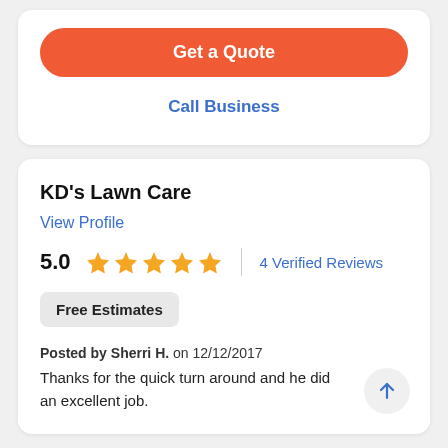[Figure (screenshot): Orange 'Get a Quote' button (pill-shaped, coral/orange background, white bold text)]
Call Business
KD's Lawn Care
View Profile
5.0  ★★★★★  |  4 Verified Reviews
Free Estimates
Posted by Sherri H. on 12/12/2017
Thanks for the quick turn around and he did an excellent job.